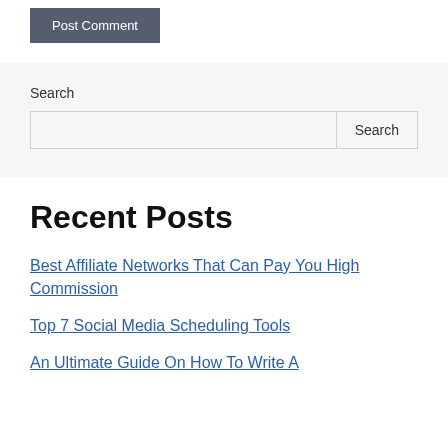Post Comment
Search
Recent Posts
Best Affiliate Networks That Can Pay You High Commission
Top 7 Social Media Scheduling Tools
An Ultimate Guide On How To Write A